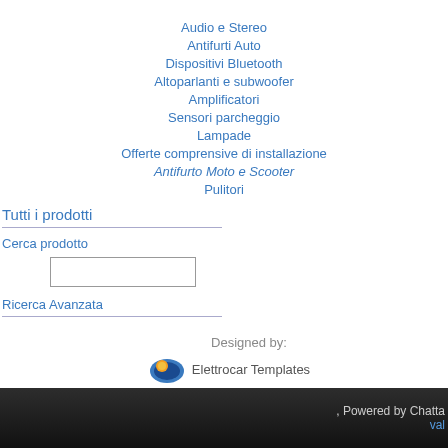Audio e Stereo
Antifurti Auto
Dispositivi Bluetooth
Altoparlanti e subwoofer
Amplificatori
Sensori parcheggio
Lampade
Offerte comprensive di installazione
Antifurto Moto e Scooter
Pulitori
Tutti i prodotti
Cerca prodotto
Ricerca Avanzata
Designed by:
Elettrocar Templates
, Powered by Chatta    val